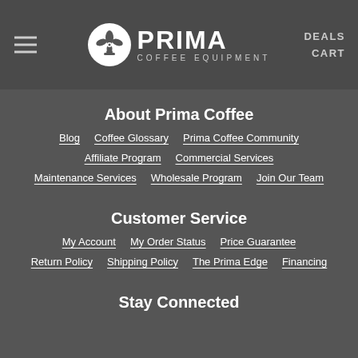Prima Coffee Equipment — DEALS CART
About Prima Coffee
Blog
Coffee Glossary
Prima Coffee Community
Affiliate Program
Commercial Services
Maintenance Services
Wholesale Program
Join Our Team
Customer Service
My Account
My Order Status
Price Guarantee
Return Policy
Shipping Policy
The Prima Edge
Financing
Stay Connected